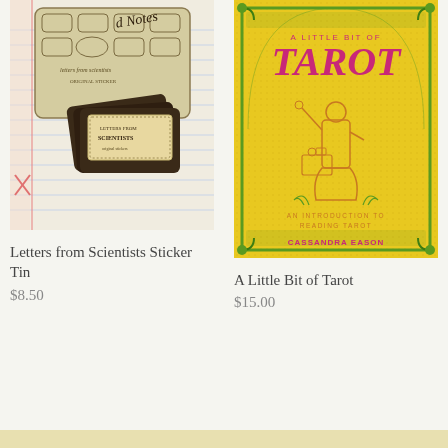[Figure (photo): Photo of Letters from Scientists Sticker Tin showing a tin with vintage label stamps and sticker cards with scientific postal themes on a lined notebook]
Letters from Scientists Sticker Tin
$8.50
[Figure (photo): Photo of book cover 'A Little Bit of Tarot' by Cassandra Eason - yellow/gold background with green ornate border, magenta text and illustration of a tarot figure, subtitle 'An Introduction to Reading Tarot']
A Little Bit of Tarot
$15.00